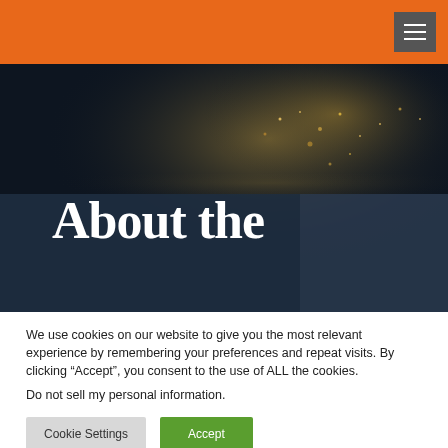[Figure (photo): Night satellite view of Earth showing lights of cities against dark background, used as hero image behind 'About the' heading text]
About the
We use cookies on our website to give you the most relevant experience by remembering your preferences and repeat visits. By clicking “Accept”, you consent to the use of ALL the cookies.
Do not sell my personal information.
Cookie Settings   Accept